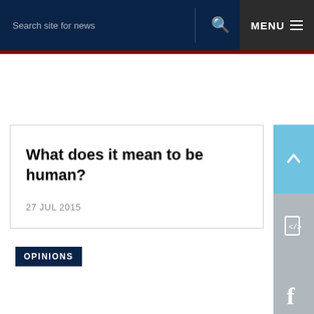Search site for news  MENU
What does it mean to be human?
27 JUL 2015
OPINIONS